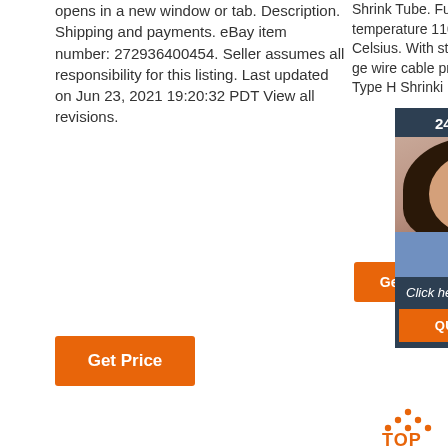opens in a new window or tab. Description. Shipping and payments. eBay item number: 272936400454. Seller assumes all responsibility for this listing. Last updated on Jun 23, 2021 19:20:32 PDT View all revisions.
Shrink Tube. Full shrink temperature 110 Degrees Celsius. With strong shrinkage wire cable protection. Type H Shrink tube...
[Figure (photo): Customer service representative with headset, 24/7 Online chat widget with dark blue background, orange Get button, 'Click here for free chat!' text, and orange QUOTATION button]
[Figure (illustration): Orange dotted triangle TOP icon for back to top navigation]
Get Price
waterproof moisture-proof truck cable harness self-locked protective tubing